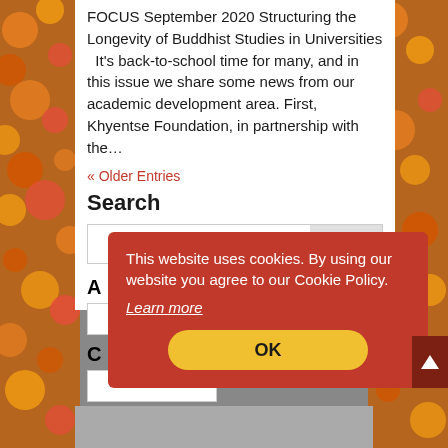[Figure (photo): Autumn floral background with orange and yellow flowers on both sides of a white content panel]
FOCUS September 2020 Structuring the Longevity of Buddhist Studies in Universities It's back-to-school time for many, and in this issue we share some news from our academic development area. First, Khyentse Foundation, in partnership with the…
« Older Entries
Search
Search
A
C
This website uses cookies. By using our website you agree to our Cookie Policy.
Learn more
OK